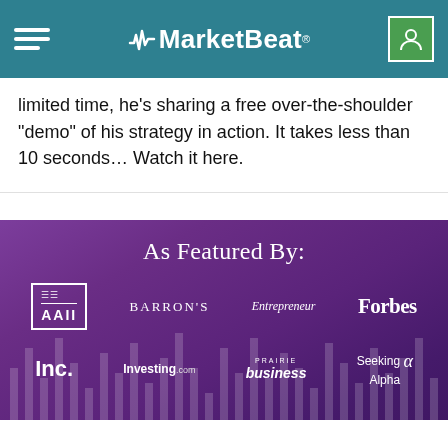MarketBeat
limited time, he’s sharing a free over-the-shoulder “demo” of his strategy in action. It takes less than 10 seconds… Watch it here.
[Figure (infographic): As Featured By section with logos: AAII, BARRON'S, Entrepreneur, Forbes, Inc., Investing.com, PRAIRIE business, Seeking Alpha on purple gradient background]
[Figure (logo): MarketBeat logo partially visible at bottom of page]